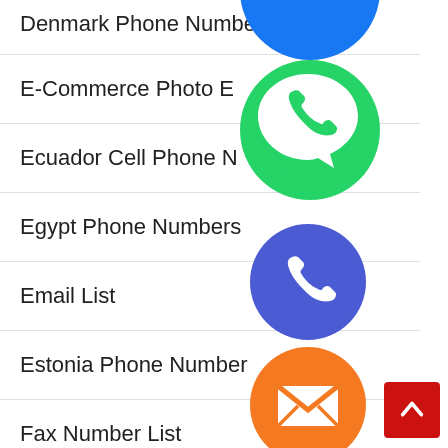Denmark Phone Number
E-Commerce Photo E
Ecuador Cell Phone N
Egypt Phone Numbers
Email List
Estonia Phone Number
Fax Number List
Georgia Phone Numbers
Germany Phone Number
[Figure (infographic): Floating social media and communication app icons overlaid on a list: WhatsApp (green), phone/Viber (blue), email (orange), LINE (green), Viber (purple), close/X (green), and a Facebook icon (blue, cropped at top)]